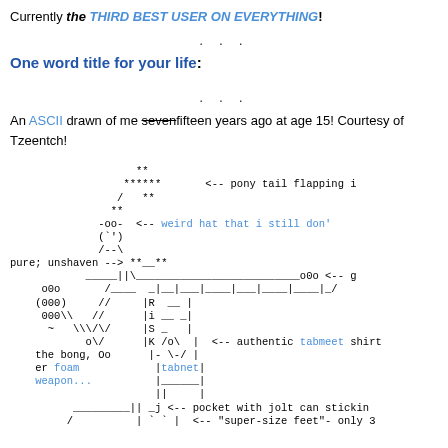Currently the THIRD BEST USER ON EVERYTHING!
...
One word title for your life:
...
An ASCII drawn of me sevenfifteen years ago at age 15! Courtesy of Tzeentch!
[Figure (illustration): ASCII art drawing of a person with annotations including pony tail, weird hat, pure/unshaven label, tabmeet shirt, foam weapon, pocket with jolt can, super-size feet]